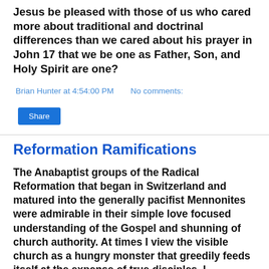Jesus be pleased with those of us who cared more about traditional and doctrinal differences than we cared about his prayer in John 17 that we be one as Father, Son, and Holy Spirit are one?
Brian Hunter at 4:54:00 PM   No comments:
Share
Reformation Ramifications
The Anabaptist groups of the Radical Reformation that began in Switzerland and matured into the generally pacifist Mennonites were admirable in their simple love focused understanding of the Gospel and shunning of church authority. At times I view the visible church as a hungry monster that greedily feeds itself at the expense of true disciples. I